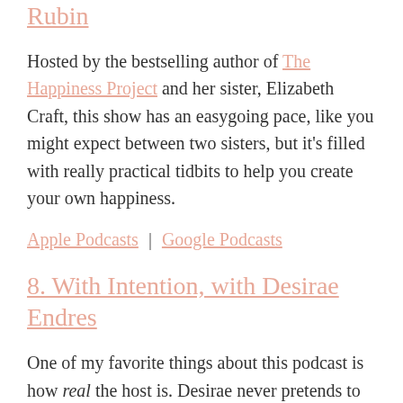Rubin
Hosted by the bestselling author of The Happiness Project and her sister, Elizabeth Craft, this show has an easygoing pace, like you might expect between two sisters, but it’s filled with really practical tidbits to help you create your own happiness.
Apple Podcasts | Google Podcasts
8. With Intention, with Desirae Endres
One of my favorite things about this podcast is how real the host is. Desirae never pretends to